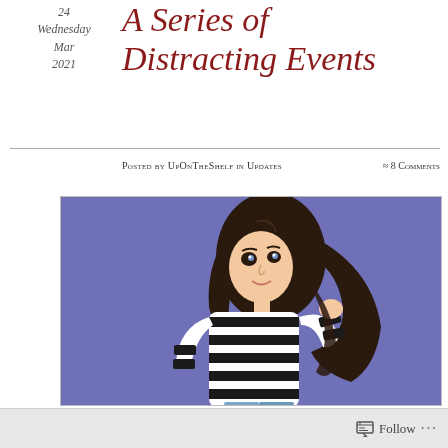24 Wednesday Mar 2021
A Series of Distracting Events
Posted by UpOnTheShelf in Updates ≈ 8 Comments
[Figure (illustration): Cartoon illustration of a young woman with long dark wavy hair, wearing a black and white striped sweater and light blue jeans, posed against a purple/periwinkle background, looking upward with a slight smile.]
Follow ...